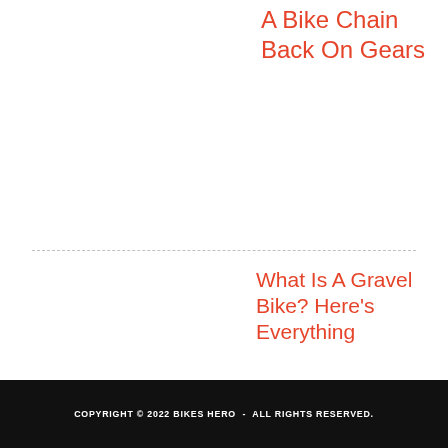A Bike Chain Back On Gears
What Is A Gravel Bike? Here's Everything You need to know
COPYRIGHT © 2022 BIKES HERO - ALL RIGHTS RESERVED.